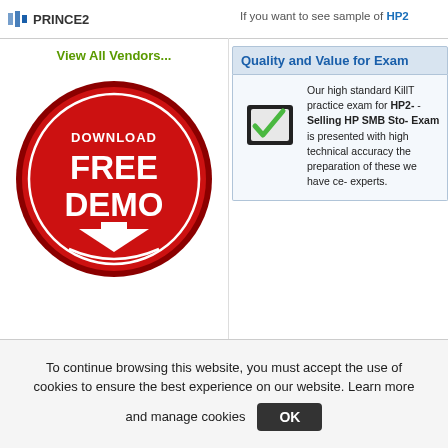PRINCE2
If you want to see sample of HP2
View All Vendors...
[Figure (illustration): Red circular download button with text DOWNLOAD FREE DEMO and a downward arrow]
Quality and Value for Exam
[Figure (illustration): Green checkmark on a black checkbox/tablet icon]
Our high standard KillT practice exam for HP2- - Selling HP SMB Sto- Exam is presented with high technical accuracy the preparation of these we have ce- experts.
You need not be worried of your guidelines for all your HP2-K32 ex
To continue browsing this website, you must accept the use of cookies to ensure the best experience on our website. Learn more and manage cookies